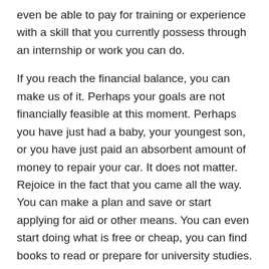even be able to pay for training or experience with a skill that you currently possess through an internship or work you can do.
If you reach the financial balance, you can make us of it. Perhaps your goals are not financially feasible at this moment. Perhaps you have just had a baby, your youngest son, or you have just paid an absorbent amount of money to repair your car. It does not matter. Rejoice in the fact that you came all the way. You can make a plan and save or start applying for aid or other means. You can even start doing what is free or cheap, you can find books to read or prepare for university studies. Most people do not have the luxury to give up their jobs when they change careers, so chances are high that you will live a “double life” as you prepare for the change. Whatever